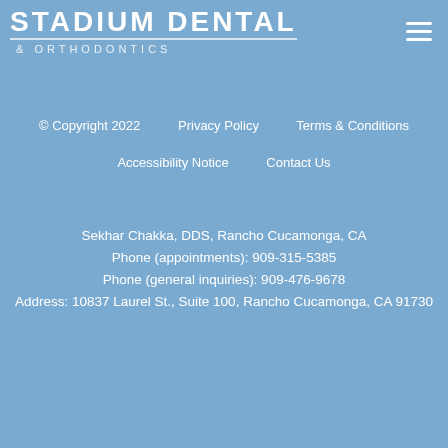[Figure (logo): Stadium Dental & Orthodontics logo — white text on blue background with horizontal rule]
© Copyright 2022    Privacy Policy    Terms & Conditions
Accessibility Notice    Contact Us
Sekhar Chakka, DDS, Rancho Cucamonga, CA
Phone (appointments): 909-315-5385
Phone (general inquiries): 909-476-9678
Address: 10837 Laurel St., Suite 100, Rancho Cucamonga, CA 91730